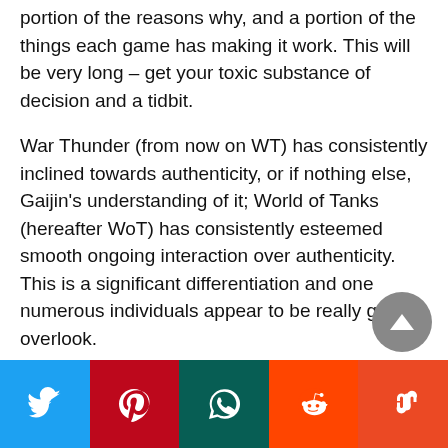portion of the reasons why, and a portion of the things each game has making it work. This will be very long – get your toxic substance of decision and a tidbit.
War Thunder (from now on WT) has consistently inclined towards authenticity, or if nothing else, Gaijin's understanding of it; World of Tanks (hereafter WoT) has consistently esteemed smooth ongoing interaction over authenticity. This is a significant differentiation and one numerous individuals appear to be really glad to overlook.
Contents